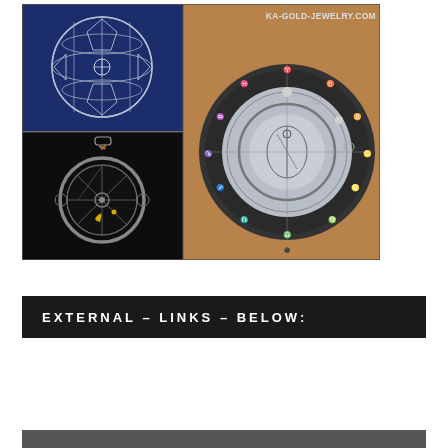[Figure (photo): A collage of four jewelry photos from ka-gold-jewelry.com. Top-left: a silver geodesic sphere pendant on dark blue background. Bottom-left: a zodiac wheel pendant with sun/moon on black background. Right (large): a silver zodiac coin/medallion with zodiac symbols and moon phases on a tan background, hung on a chain. Watermark text 'KA-GOLD-JEWELRY.COM' in the top right of the right panel.]
EXTERNAL – LINKS – BELOW: